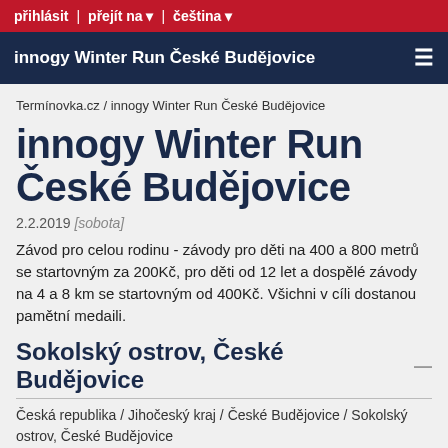přihlásit | přejít na ▾ | čeština ▾
innogy Winter Run České Budějovice
Termínovka.cz / innogy Winter Run České Budějovice
innogy Winter Run České Budějovice
2.2.2019 [sobota]
Závod pro celou rodinu - závody pro děti na 400 a 800 metrů se startovným za 200Kč, pro děti od 12 let a dospělé závody na 4 a 8 km se startovným od 400Kč. Všichni v cíli dostanou pamětní medaili.
Sokolský ostrov, České Budějovice
Česká republika / Jihočeský kraj / České Budějovice / Sokolský ostrov, České Budějovice